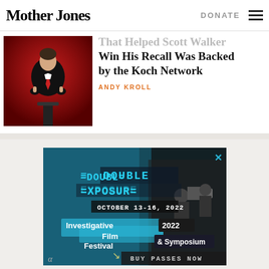Mother Jones | DONATE
[Figure (photo): Person in suit with red tie at a podium, dark background with red lighting]
That Helped Scott Walker Win His Recall Was Backed by the Koch Network
ANDY KROLL
[Figure (infographic): Double Exposure Investigative Film Festival & Symposium 2022 advertisement. OCTOBER 13-16, 2022. Buy Passes Now.]